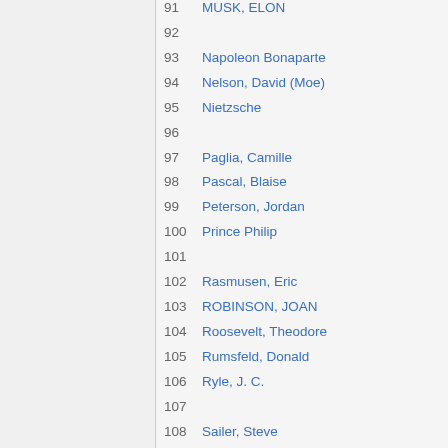91  MUSK, ELON
92
93  Napoleon Bonaparte
94  Nelson, David (Moe)
95  Nietzsche
96
97  Paglia, Camille
98  Pascal, Blaise
99  Peterson, Jordan
100  Prince Philip
101
102  Rasmusen, Eric
103  ROBINSON, JOAN
104  Roosevelt, Theodore
105  Rumsfeld, Donald
106  Ryle, J. C.
107
108  Sailer, Steve
109  Samuelson, Paul
110  Schumpeter, Joseph